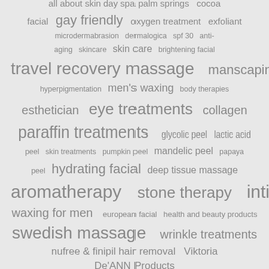[Figure (infographic): Word cloud for a day spa / skincare business featuring terms like: all about skin day spa palm springs, cocoa facial, gay friendly, oxygen treatment, exfoliant, microdermabrasion, dermalogica, spf 30, anti-aging, skincare, skin care, brightening facial, travel recovery massage, manscaping, hyperpigmentation, men's waxing, body therapies, esthetician, eye treatments, collagen, paraffin treatments, glycolic peel, lactic acid peel, skin treatments, pumpkin peel, mandelic peel, papaya peel, hydrating facial, deep tissue massage, aromatherapy, stone therapy, intimate waxing for men, european facial, health and beauty products, swedish massage, wrinkle treatments, nufree & finipil hair removal, Viktoria De'ANN Products.]